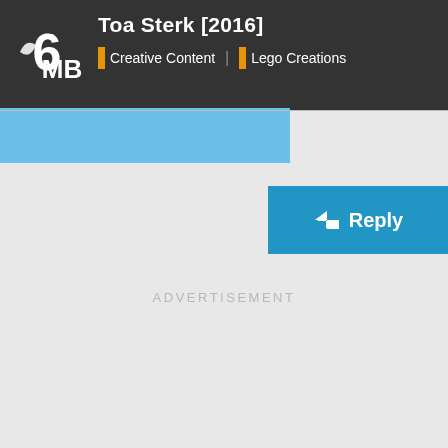6MB — Toa Sterk [2016] | Creative Content | Lego Creations
[Figure (screenshot): Reply button — blue button with reply arrow icon and text 'Reply']
ADVERTISEMENT